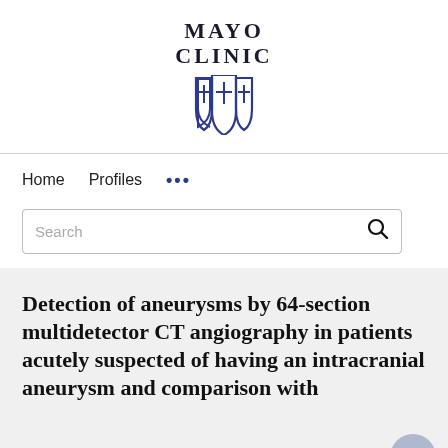[Figure (logo): Mayo Clinic logo with shield emblem in navy/dark blue. Text reads MAYO CLINIC above a stylized shield/cross symbol.]
Home   Profiles   ...
Search
Detection of aneurysms by 64-section multidetector CT angiography in patients acutely suspected of having an intracranial aneurysm and comparison with